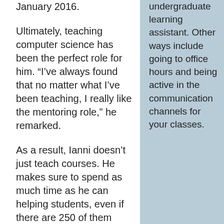January 2016.
Ultimately, teaching computer science has been the perfect role for him. “I’ve always found that no matter what I’ve been teaching, I really like the mentoring role,” he remarked.
As a result, Ianni doesn’t just teach courses. He makes sure to spend as much time as he can helping students, even if there are 250 of them enrolled in a single class.
undergraduate learning assistant. Other ways include going to office hours and being active in the communication channels for your classes.